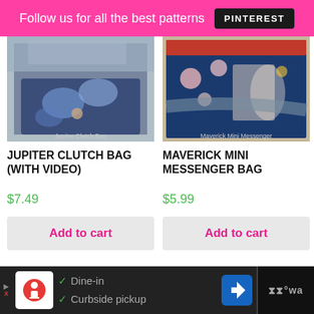Follow us for all the best patterns PINTEREST
[Figure (photo): Jupiter Clutch Bag product photo showing a blue floral fabric bag on a wooden surface]
[Figure (photo): Maverick Mini Messenger Bag product photo showing a colorful Alice in Wonderland themed crossbody bag]
JUPITER CLUTCH BAG (WITH VIDEO)
MAVERICK MINI MESSENGER BAG
$7.49
$5.99
Add to cart
Add to cart
Dine-in Curbside pickup